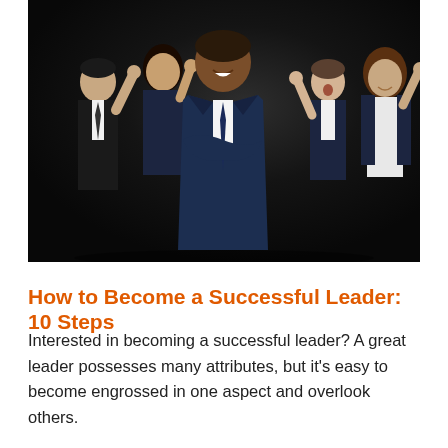[Figure (photo): A group of five business professionals in a dark studio setting. A confident Black man in a navy suit with crossed arms stands in the foreground center. Behind him, four colleagues celebrate with raised fists and cheering expressions.]
How to Become a Successful Leader: 10 Steps
Interested in becoming a successful leader? A great leader possesses many attributes, but it's easy to become engrossed in one aspect and overlook others.